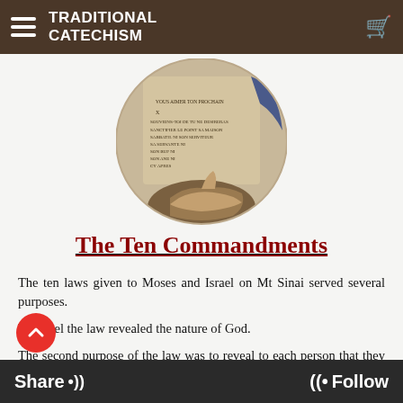TRADITIONAL CATECHISM
[Figure (photo): Circular cropped photo of hands pointing at a stone tablet or book with French text of the Ten Commandments inscribed on it, with a blue-robed figure in the background]
The Ten Commandments
The ten laws given to Moses and Israel on Mt Sinai served several purposes.
To Israel the law revealed the nature of God.
The second purpose of the law was to reveal to each person that they could not obey God's holy law.
The third purpose was civil. The law provided a framework for the creation of a just society. (Tap Here)
Share  Follow